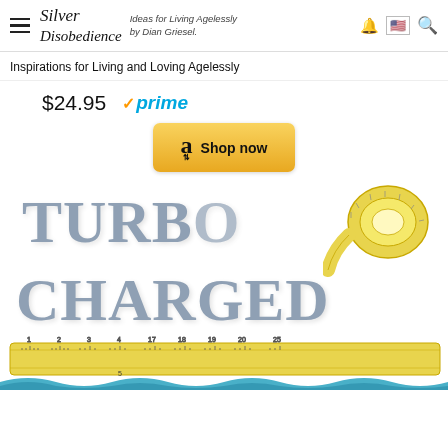Silver Disobedience — Ideas for Living Agelessly by Dian Griesel.
Inspirations for Living and Loving Agelessly
$24.95  ✓prime
[Figure (screenshot): Amazon 'Shop now' button with orange/yellow gradient background, Amazon 'a' logo with smile arrow]
[Figure (illustration): Book cover for TURBO CHARGED with large silvery-blue bold serif text and yellow measuring tape coiled around the letters, blue water waves at bottom]